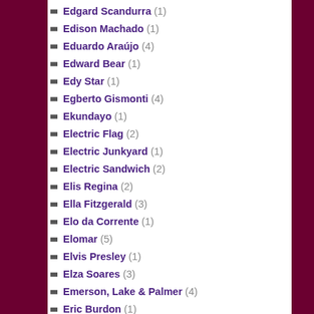Edgard Scandurra (1)
Edison Machado (1)
Eduardo Araújo (4)
Edward Bear (1)
Edy Star (1)
Egberto Gismonti (4)
Ekundayo (1)
Electric Flag (2)
Electric Junkyard (1)
Electric Sandwich (2)
Elis Regina (2)
Ella Fitzgerald (3)
Elo da Corrente (1)
Elomar (5)
Elvis Presley (1)
Elza Soares (3)
Emerson, Lake & Palmer (4)
Eric Burdon (1)
Eric Clapton (7)
Eric Dolphy (1)
Erlon Chaves (1)